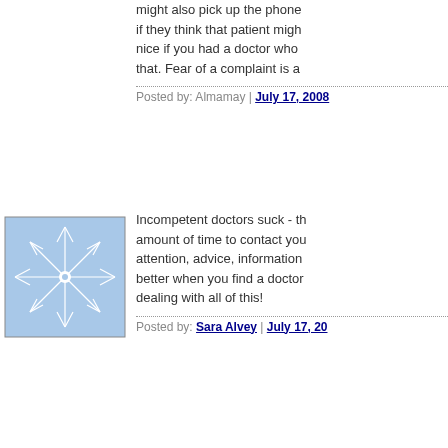might also pick up the phone if they think that patient might nice if you had a doctor who that. Fear of a complaint is a
Posted by: Almamay | July 17, 2008
[Figure (illustration): Avatar icon with geometric star/snowflake pattern in blue and white]
Incompetent doctors suck - th amount of time to contact you attention, advice, information better when you find a doctor dealing with all of this!
Posted by: Sara Alvey | July 17, 20
[Figure (illustration): Avatar icon with curved concentric lines pattern in blue and white]
I've been though similar circu miscarriages. In fact, I've had either mucked up the testing
I know how insanely pissed o have to deal with this.
Posted by: Shelli | July 17, 2008 at